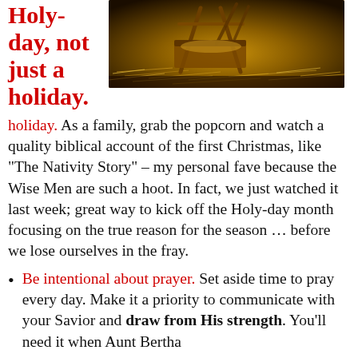Holy-day, not just a holiday.
[Figure (photo): Nativity scene with wooden manger structure and hay, warm dark tones]
As a family, grab the popcorn and watch a quality biblical account of the first Christmas, like “The Nativity Story” – my personal fave because the Wise Men are such a hoot. In fact, we just watched it last week; great way to kick off the Holy-day month focusing on the true reason for the season … before we lose ourselves in the fray.
Be intentional about prayer. Set aside time to pray every day. Make it a priority to communicate with your Savior and draw from His strength. You’ll need it when Aunt Bertha